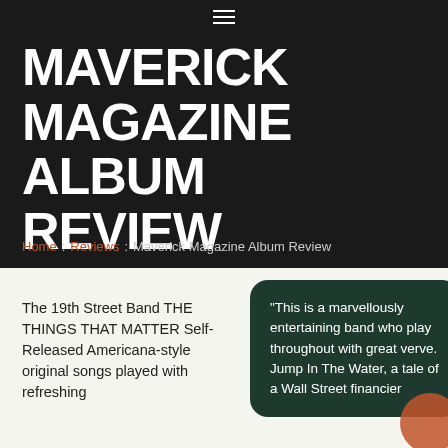☰
MAVERICK MAGAZINE ALBUM REVIEW
Home : Reviews : Maverick Magazine Album Review
The 19th Street Band THE THINGS THAT MATTER Self-Released Americana-style original songs played with refreshing
"This is a marvellously entertaining band who play throughout with great verve. Jump In The Water, a tale of a Wall Street financier